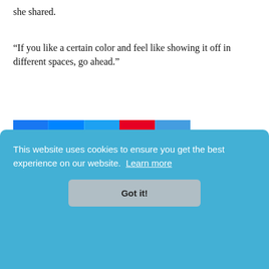she shared.
“If you like a certain color and feel like showing it off in different spaces, go ahead.”
[Figure (infographic): Social sharing bar with Facebook, Messenger, Twitter, Pinterest, and More (+) buttons]
[Figure (photo): Advertisement banner: RELAX IN YOUR OWN FIRST CLASS SUITE - Emirates First Class. Terms and conditions apply.]
This website uses cookies to ensure you get the best experience on our website. Learn more
Got it!